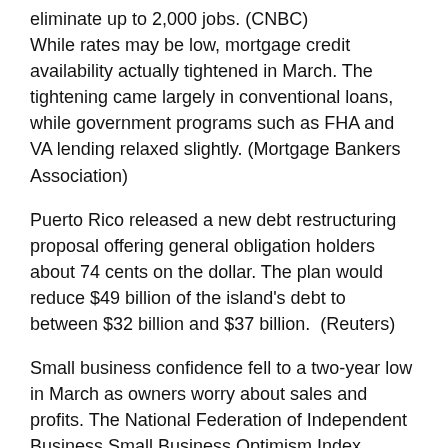eliminate up to 2,000 jobs. (CNBC) While rates may be low, mortgage credit availability actually tightened in March. The tightening came largely in conventional loans, while government programs such as FHA and VA lending relaxed slightly. (Mortgage Bankers Association)
Puerto Rico released a new debt restructuring proposal offering general obligation holders about 74 cents on the dollar. The plan would reduce $49 billion of the island's debt to between $32 billion and $37 billion. (Reuters)
Small business confidence fell to a two-year low in March as owners worry about sales and profits. The National Federation of Independent Business Small Business Optimism Index dipped to 92.6. It has declined from a reading of 100 in December 2014 and is off its 42-year average of 98. (Reuters)